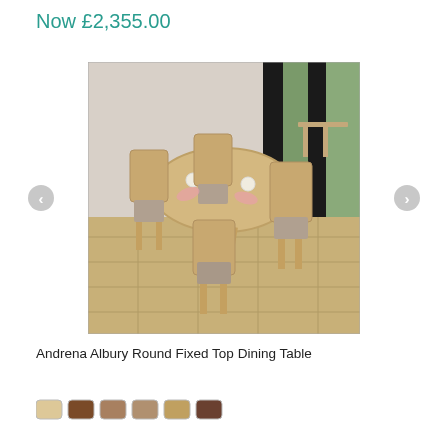Now £2,355.00
[Figure (photo): Round oak dining table set with four upholstered chairs in a bright dining room setting]
Andrena Albury Round Fixed Top Dining Table
[Figure (other): Six color swatches showing finish options for the dining table]